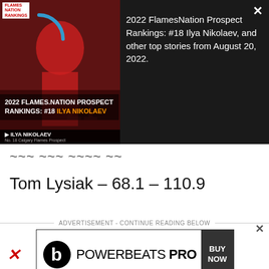[Figure (screenshot): Thumbnail with hockey player photo and FlamesNation branding overlay showing Ilya Nikolaev article]
2022 FlamesNation Prospect Rankings: #18 Ilya Nikolaev, and other top stories from August 20, 2022.
Tom Lysiak – 68.1 – 110.9
ADVERTISEMENT - CONTINUE READING BELOW
[Figure (other): Powerbeats Pro advertisement with Buy Now button]